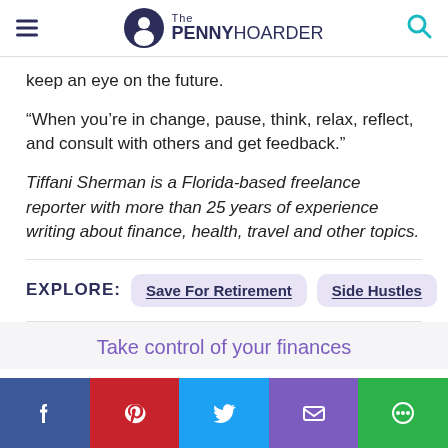The PENNY HOARDER
keep an eye on the future.
“When you’re in change, pause, think, relax, reflect, and consult with others and get feedback.”
Tiffani Sherman is a Florida-based freelance reporter with more than 25 years of experience writing about finance, health, travel and other topics.
EXPLORE: Save For Retirement Side Hustles
Take control of your finances